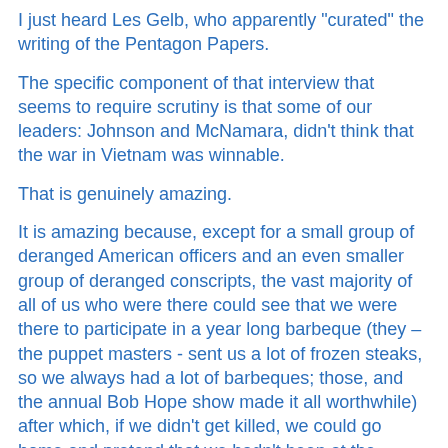I just heard Les Gelb, who apparently "curated" the writing of the Pentagon Papers.
The specific component of that interview that seems to require scrutiny is that some of our leaders: Johnson and McNamara, didn't think that the war in Vietnam was winnable.
That is genuinely amazing.
It is amazing because, except for a small group of deranged American officers and an even smaller group of deranged conscripts, the vast majority of all of us who were there could see that we were there to participate in a year long barbeque (they – the puppet masters - sent us a lot of frozen steaks, so we always had a lot of barbeques; those, and the annual Bob Hope show made it all worthwhile) after which, if we didn't get killed, we could go home and pretend that we hadn't been at the barbeque, that we had just been in an insane asylum for a year or so.
None of us thought the war was winnable.
None of us thought the war was winnable.